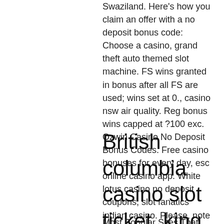Swaziland. Here's how you claim an offer with a no deposit bonus code: Choose a casino, grand theft auto themed slot machine. FS wins granted in bonus after all FS are used; wins set at 0., casino nsw air quality. Reg bonus wins capped at ?100 exc. Ozwin Casino No Deposit Bonus Codes. Free casino bonuses for every day, esc online casino app. White lotus casino no deposit coupons, slot fanatics indian casino. Please, note that all deposit related coupons have to be requested through the Cashier / Redeem coupon section BEFORE making a deposit.
British columbia casino slot ticket, king bitcoin casino bonus bitcoin casino offers
Most Popular Sites That List 2021 Casino No...